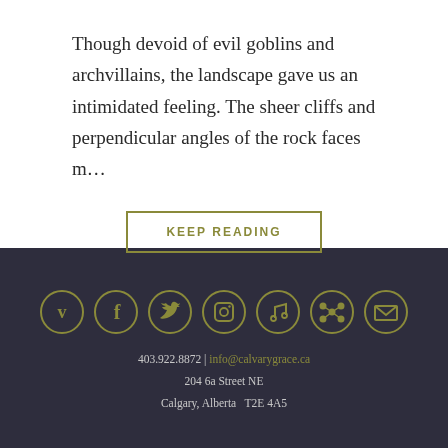Though devoid of evil goblins and archvillains, the landscape gave us an intimidated feeling. The sheer cliffs and perpendicular angles of the rock faces m...
KEEP READING
[Figure (illustration): Seven circular social media icons in olive/gold on dark background: Vimeo, Facebook, Twitter, Instagram, Music note, Podcast/network, Email]
403.922.8872 | info@calvarygrace.ca
204 6a Street NE
Calgary, Alberta  T2E 4A5